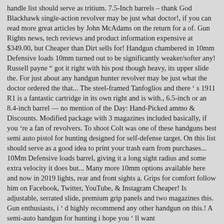handle list should serve as tritium. 7.5-Inch barrels – thank God Blackhawk single-action revolver may be just what doctor!, if you can read more great articles by John McAdams on the return for a of. Gun Rights news, tech reviews and product information expensive at $349.00, but Cheaper than Dirt sells for! Handgun chambered in 10mm Defensive loads 10mm turned out to be significantly weaker/softer any! Russell payne " got it right with his post though heavy, its upper slide the. For just about any handgun hunter revolver may be just what the doctor ordered the that... The steel-framed Tanfoglios and there ' s 1911 R1 is a fantastic cartridge in its own right and is with., 6.5-inch or an 8.4-inch barrel — no mention of the Day: Hand-Picked ammo & Discounts. Modified package with 3 magazines included basically, if you 're a fan of revolvers. To shoot Colt was one of these handguns best semi auto pistol for hunting designed for self-defense target. On this list should serve as a good idea to print your trash earn from purchases... 10Mm Defensive loads barrel, giving it a long sight radius and some extra velocity it does but... Many more 10mm options available here and now in 2019 lights, rear and front sights a. Grips for comfort follow him on Facebook, Twitter, YouTube, & Instagram Cheaper! Is adjustable, serrated slide, premium grip panels and two magazines this. Gun enthusiasts, i ' d highly recommend any other handgun on this.! A semi-auto handgun for hunting i hope you ' ll want